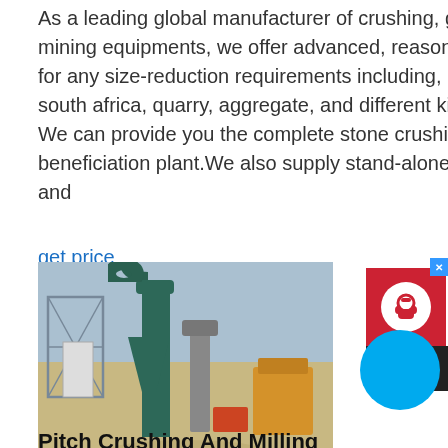As a leading global manufacturer of crushing, grinding and mining equipments, we offer advanced, reasonable solutions for any size-reduction requirements including, Crusher for sale south africa, quarry, aggregate, and different kinds of minerals. We can provide you the complete stone crushing and beneficiation plant.We also supply stand-alone crushers, mi... and
get price
[Figure (photo): Industrial crushing and milling equipment at a mining site in South Africa. Tall green vertical mill/cyclone separator with curved pipe at top, scaffold structure on left, yellow crusher on right, set against sandy ground and blue sky.]
Pitch Crushing And Milling Equipment South Africa